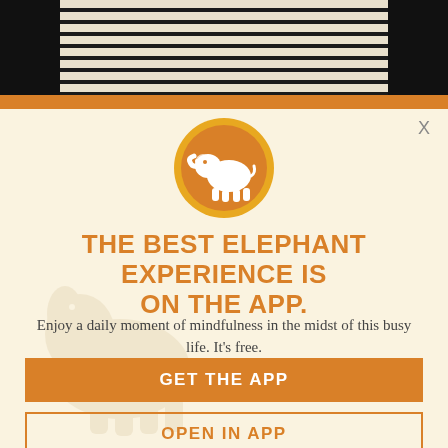[Figure (photo): Top portion of page showing striped fabric/clothing with black bars on left and right sides, partially visible behind an orange horizontal bar]
[Figure (logo): Orange circle with white elephant silhouette logo for Elephant app]
THE BEST ELEPHANT EXPERIENCE IS ON THE APP.
Enjoy a daily moment of mindfulness in the midst of this busy life. It's free.
GET THE APP
OPEN IN APP